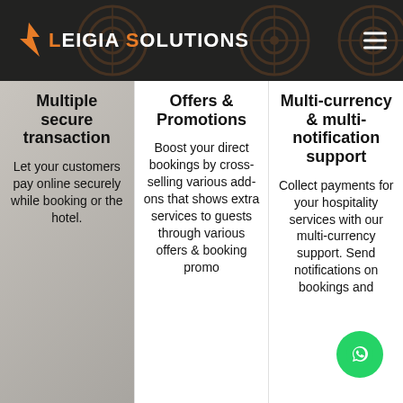Leigia Solutions
Multiple secure transaction
Let your customers pay online securely while booking or the hotel.
Offers & Promotions
Boost your direct bookings by cross-selling various add-ons that shows extra services to guests through various offers & booking promo
Multi-currency & multi-notification support
Collect payments for your hospitality services with our multi-currency support. Send notifications on bookings and